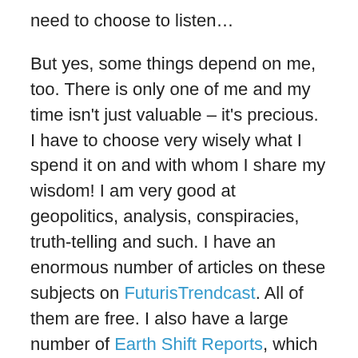need to choose to listen…
But yes, some things depend on me, too. There is only one of me and my time isn't just valuable – it's precious. I have to choose very wisely what I spend it on and with whom I share my wisdom! I am very good at geopolitics, analysis, conspiracies, truth-telling and such. I have an enormous number of articles on these subjects on FuturisTrendcast. All of them are free. I also have a large number of Earth Shift Reports, which go much deeper on these topics, and they are donation-based. You can donate even as little as $1 to read or listen. I also have a bunch of free videos and podcasts on YT. The body of knowledge on these topics I'd posted since 2014 is enormous.
However, I am so much more than a geopolitical analyst!